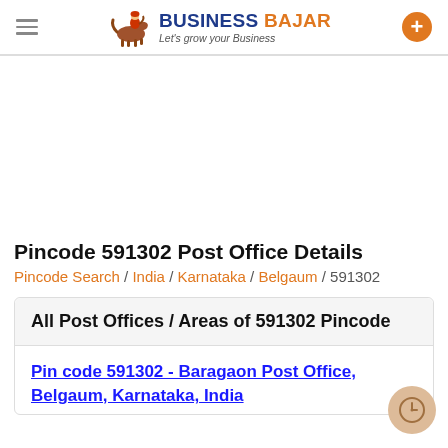Business Bajar - Let's grow your Business
Pincode 591302 Post Office Details
Pincode Search / India / Karnataka / Belgaum / 591302
All Post Offices / Areas of 591302 Pincode
Pin code 591302 - Baragaon Post Office, Belgaum, Karnataka, India